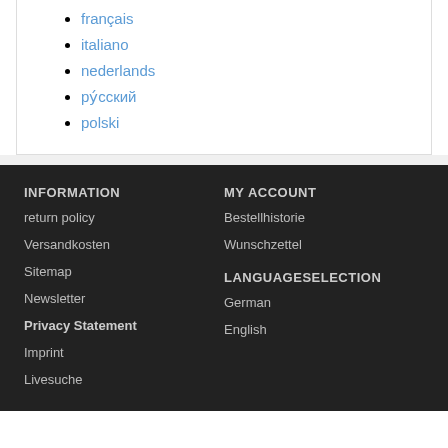français
italiano
nederlands
ру́сский
polski
INFORMATION
return policy
Versandkosten
Sitemap
Newsletter
Privacy Statement
Imprint
Livesuche
MY ACCOUNT
Bestellhistorie
Wunschzettel
LANGUAGESELECTION
German
English